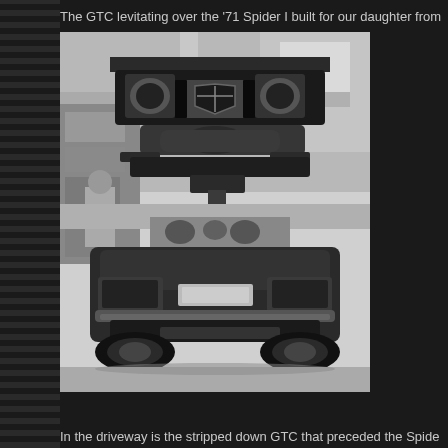The GTC levitating over the '71 Spider I built for our daughter from
[Figure (photo): Black and white photograph of a car (GTC) raised on a lift from below, showing its undercarriage including exhaust system and front suspension components, hovering above a 1971 Alfa Romeo Spider visible from the rear, taken inside a garage workshop.]
In the driveway is the stripped down GTC that preceded the Spide